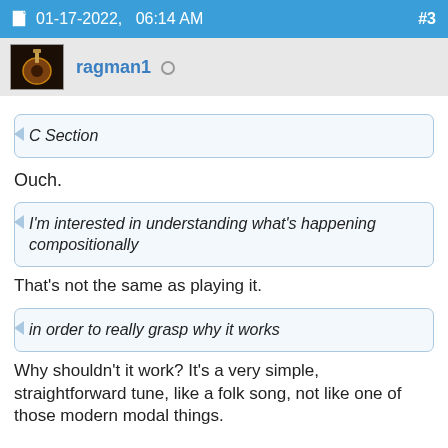01-17-2022,   06:14 AM  #3
ragman1 ○
C Section
Ouch.
I'm interested in understanding what's happening compositionally
That's not the same as playing it.
in order to really grasp why it works
Why shouldn't it work? It's a very simple, straightforward tune, like a folk song, not like one of those modern modal things.